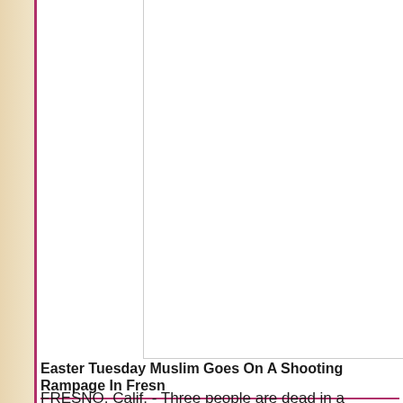[Figure (photo): Large image placeholder — white rectangle with light gray border on left and bottom edges, occupying the upper right portion of the page.]
Easter Tuesday Muslim Goes On A Shooting Rampage In Fresn
FRESNO, Calif. - Three people are dead in a suspect was wanted in connection to the Mote Kori Ali Muhammad, 39, shouted "Allahu Akb